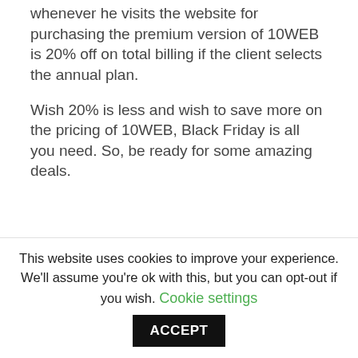whenever he visits the website for purchasing the premium version of 10WEB is 20% off on total billing if the client selects the annual plan.
Wish 20% is less and wish to save more on the pricing of 10WEB, Black Friday is all you need. So, be ready for some amazing deals.
[Figure (other): Blue button with arrow icons and text: Click Here to Save 20% on 10WEB Now]
This website uses cookies to improve your experience. We'll assume you're ok with this, but you can opt-out if you wish. Cookie settings ACCEPT